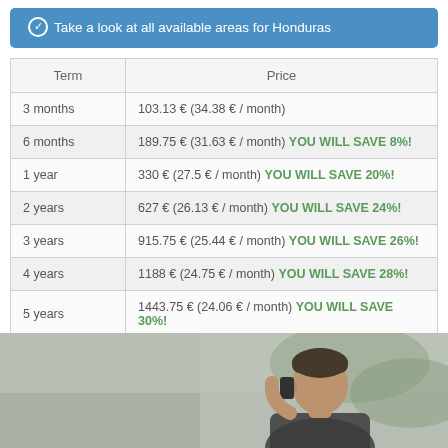Take a look at all available areas for Honduras
| Term | Price |
| --- | --- |
| 3 months | 103.13 € (34.38 € / month) |
| 6 months | 189.75 € (31.63 € / month) YOU WILL SAVE 8%! |
| 1 year | 330 € (27.5 € / month) YOU WILL SAVE 20%! |
| 2 years | 627 € (26.13 € / month) YOU WILL SAVE 24%! |
| 3 years | 915.75 € (25.44 € / month) YOU WILL SAVE 26%! |
| 4 years | 1188 € (24.75 € / month) YOU WILL SAVE 28%! |
| 5 years | 1443.75 € (24.06 € / month) YOU WILL SAVE 30%! |
[Figure (photo): Man talking on phone, blurred outdoor background]